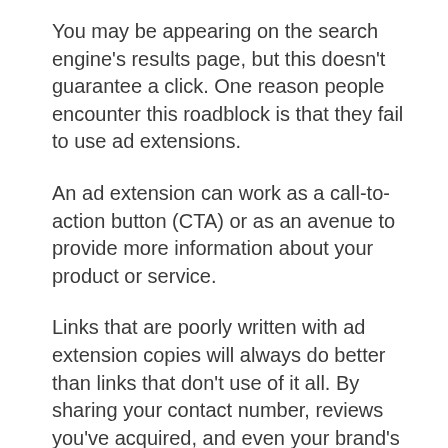You may be appearing on the search engine's results page, but this doesn't guarantee a click. One reason people encounter this roadblock is that they fail to use ad extensions.
An ad extension can work as a call-to-action button (CTA) or as an avenue to provide more information about your product or service.
Links that are poorly written with ad extension copies will always do better than links that don't use of it all. By sharing your contact number, reviews you've acquired, and even your brand's tagline, this simple element can help you encourage desired actions without sounding too pushy.